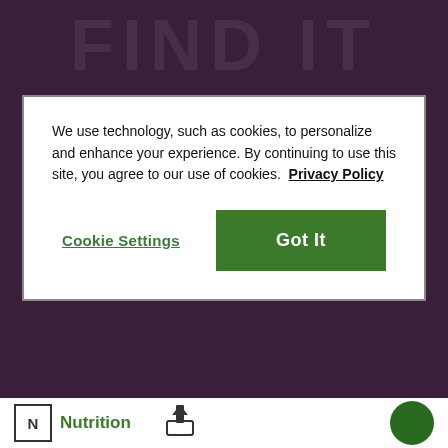[Figure (screenshot): Dark purple background with faint large 'FIND IT' text watermark at top]
We use technology, such as cookies, to personalize and enhance your experience. By continuing to use this site, you agree to our use of cookies. Privacy Policy
Cookie Settings
Got It
LOVE HVR? SHOW US!
Can't get enough HVR? Share your best ranch moments with #HVRLOVE and tag @hidden_valley on Instagram for a chance to
N Nutrition